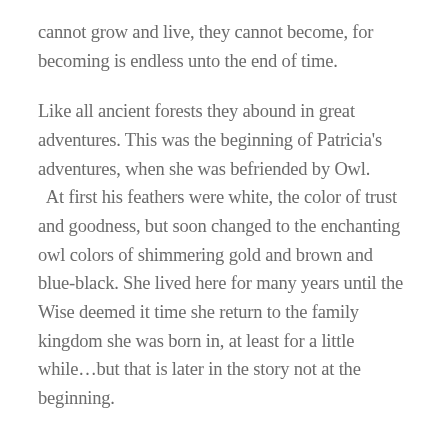cannot grow and live, they cannot become, for becoming is endless unto the end of time.
Like all ancient forests they abound in great adventures. This was the beginning of Patricia's adventures, when she was befriended by Owl.   At first his feathers were white, the color of trust and goodness, but soon changed to the enchanting owl colors of shimmering gold and brown and blue-black. She lived here for many years until the Wise deemed it time she return to the family kingdom she was born in, at least for a little while…but that is later in the story not at the beginning.